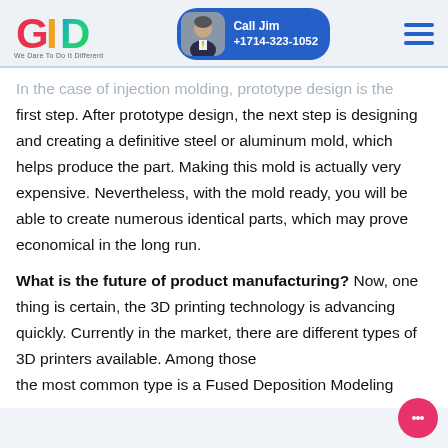[Figure (logo): GID company logo with colorful G, I, D letters and tagline 'We Dare To Do It Different']
[Figure (infographic): Call Jim button with photo, phone number +1714-323-1052, blue rounded rectangle]
In the case of injection molding, prototype design is the first step. After prototype design, the next step is designing and creating a definitive steel or aluminum mold, which helps produce the part. Making this mold is actually very expensive. Nevertheless, with the mold ready, you will be able to create numerous identical parts, which may prove economical in the long run.
What is the future of product manufacturing? Now, one thing is certain, the 3D printing technology is advancing quickly. Currently in the market, there are different types of 3D printers available. Among those the most common type is a Fused Deposition Modeling